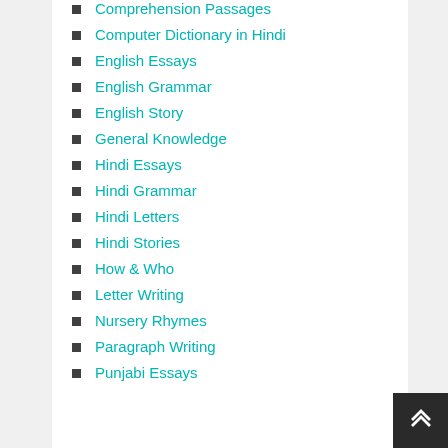Comprehension Passages
Computer Dictionary in Hindi
English Essays
English Grammar
English Story
General Knowledge
Hindi Essays
Hindi Grammar
Hindi Letters
Hindi Stories
How & Who
Letter Writing
Nursery Rhymes
Paragraph Writing
Punjabi Essays